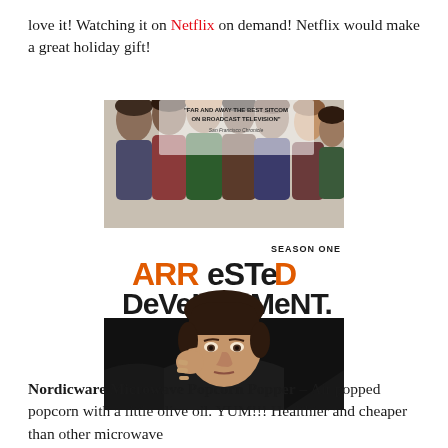love it! Watching it on Netflix on demand! Netflix would make a great holiday gift!
[Figure (photo): DVD cover of Arrested Development Season One showing cast members upside down at top, the show logo in orange and black text in the middle, and a man (Jason Bateman) resting his hand on his cheek at the bottom. Quote reads 'Far and away the best sitcom on broadcast television' - San Francisco Chronicle.]
Nordicware Microwave Popcorn Popper – Air popped popcorn with a little olive oil. YUM!!! Healthier and cheaper than other microwave